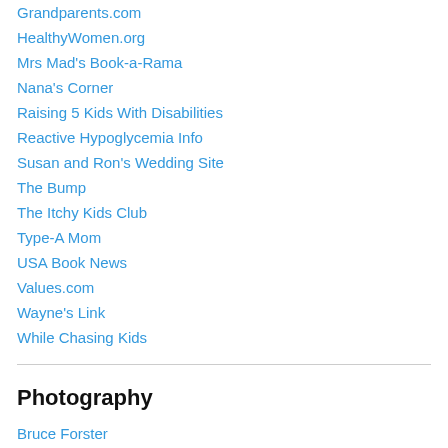Grandparents.com
HealthyWomen.org
Mrs Mad's Book-a-Rama
Nana's Corner
Raising 5 Kids With Disabilities
Reactive Hypoglycemia Info
Susan and Ron's Wedding Site
The Bump
The Itchy Kids Club
Type-A Mom
USA Book News
Values.com
Wayne's Link
While Chasing Kids
Photography
Bruce Forster
Caught in the Moment
Colorplunge